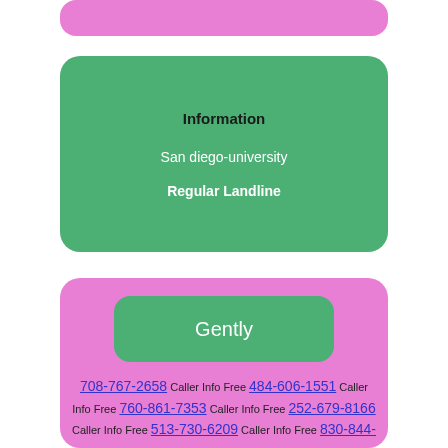[Figure (infographic): Pink rounded rectangle at top (partial, cropped)]
Information
San diego-university
Regular Landline
Gently
708-767-2658 Caller Info Free 484-606-1551 Caller Info Free 760-861-7353 Caller Info Free 252-679-8166 Caller Info Free 513-730-6209 Caller Info Free 830-844-